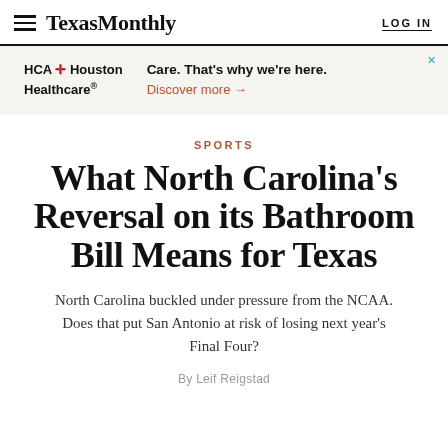Texas Monthly  LOG IN
[Figure (other): HCA Houston Healthcare advertisement banner. Text: 'Care. That's why we're here.' with 'Discover more →' link in orange.]
SPORTS
What North Carolina's Reversal on its Bathroom Bill Means for Texas
North Carolina buckled under pressure from the NCAA. Does that put San Antonio at risk of losing next year's Final Four?
By Leif Reigstad